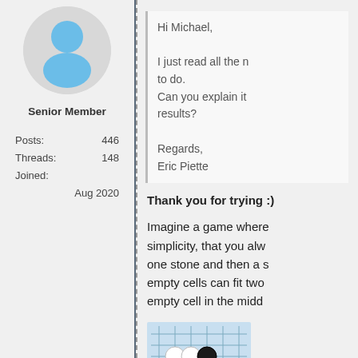[Figure (illustration): User avatar: circular profile picture with blue person silhouette on grey background]
Senior Member
Posts: 446
Threads: 148
Joined: Aug 2020
Hi Michael,

I just read all the n... to do.
Can you explain it... results?

Regards,
Eric Piette
Thank you for trying :)
Imagine a game where... simplicity, that you alw... one stone and then a s... empty cells can fit two... empty cell in the midd...
[Figure (illustration): Go board showing white and black stones on a blue-tinted grid]